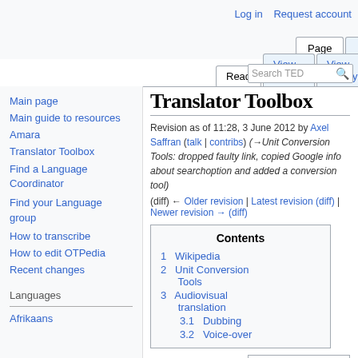Log in | Request account
Page | Discussion | Read | View source | View history | Search TED
Translator Toolbox
Revision as of 11:28, 3 June 2012 by Axel Saffran (talk | contribs) (→Unit Conversion Tools: dropped faulty link, copied Google info about searchoption and added a conversion tool)
(diff) ← Older revision | Latest revision (diff) | Newer revision → (diff)
Main page
Main guide to resources
Amara
Translator Toolbox
Find a Language Coordinator
Find your Language group
How to transcribe
How to edit OTPedia
Recent changes
Languages
Afrikaans
| Contents |
| --- |
| 1 Wikipedia |
| 2 Unit Conversion Tools |
| 3 Audiovisual translation |
| 3.1 Dubbing |
| 3.2 Voice-over |
[Figure (photo): Main (Portal) image showing hands and a book/tablet]